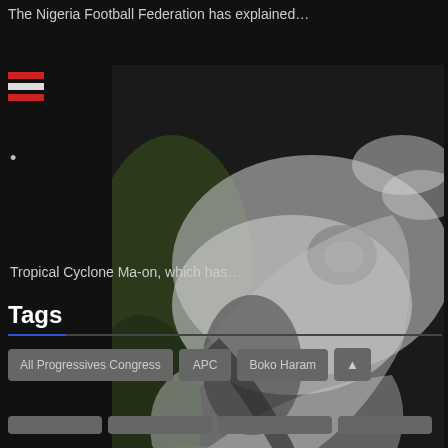The Nigeria Football Federation has explained…
[Figure (photo): Satellite image of Tropical Cyclone Ma-on showing a swirling storm system over ocean with visible eye formation, dark landmasses visible on left side.]
Tropical Cyclone Ma-on, which has…
Tags
All Progressives Congress
APC
Boko Haram